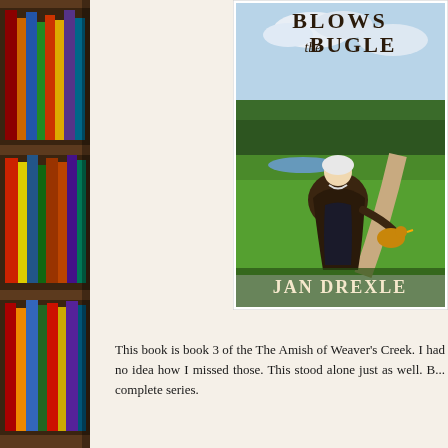[Figure (photo): Photo of a bookshelf filled with colorful books, left side of page]
[Figure (photo): Book cover partially visible showing 'BLOWS the BUGLE' title text at top, an Amish woman kneeling in a green field with chickens, and author name 'JAN DREXLE' (partially cut off) at bottom]
This book is book 3 of the The Amish of Weaver's Creek.  I had no idea how I missed those. This stood alone just as well.  B... complete series.